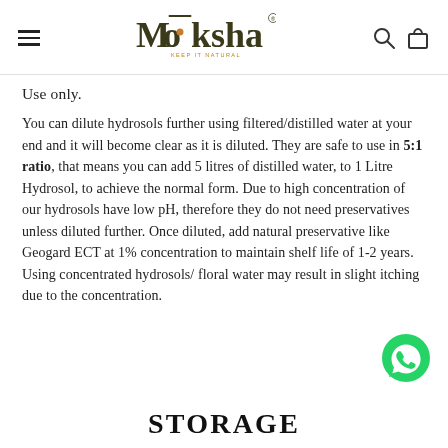Moksha — KEEP IT NATURAL (logo header with hamburger menu and search/cart icons)
Use only.
You can dilute hydrosols further using filtered/distilled water at your end and it will become clear as it is diluted. They are safe to use in 5:1 ratio, that means you can add 5 litres of distilled water, to 1 Litre Hydrosol, to achieve the normal form. Due to high concentration of our hydrosols have low pH, therefore they do not need preservatives unless diluted further. Once diluted, add natural preservative like Geogard ECT at 1% concentration to maintain shelf life of 1-2 years. Using concentrated hydrosols/ floral water may result in slight itching due to the concentration.
[Figure (logo): WhatsApp green chat bubble icon in bottom right]
STORAGE